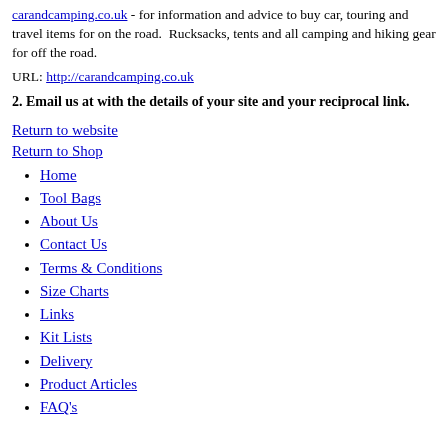carandcamping.co.uk - for information and advice to buy car, touring and travel items for on the road. Rucksacks, tents and all camping and hiking gear for off the road.
URL: http://carandcamping.co.uk
2. Email us at with the details of your site and your reciprocal link.
Return to website
Return to Shop
Home
Tool Bags
About Us
Contact Us
Terms & Conditions
Size Charts
Links
Kit Lists
Delivery
Product Articles
FAQ's